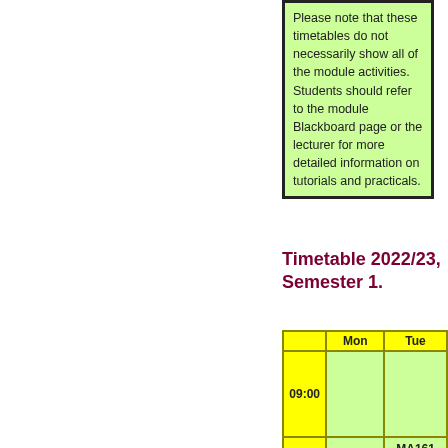Please note that these timetables do not necessarily show all of the module activities. Students should refer to the module Blackboard page or the lecturer for more detailed information on tutorials and practicals.
Timetable 2022/23, Semester 1.
|  | Mon | Tue |
| --- | --- | --- |
| 09:00 |  |  |
|  |  | MA161 |